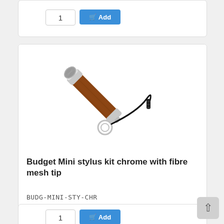[Figure (screenshot): Partial product card at top showing quantity input box with value 1 and a blue Add to cart button]
[Figure (photo): Product photo of a wooden mini stylus with chrome accents, fibre mesh tip, keyring and black lanyard]
Budget Mini stylus kit chrome with fibre mesh tip
BUDG-MINI-STY-CHR
CAD $2.99
[Figure (screenshot): Partial bottom card showing quantity input and Add button, and a scroll-to-top button]